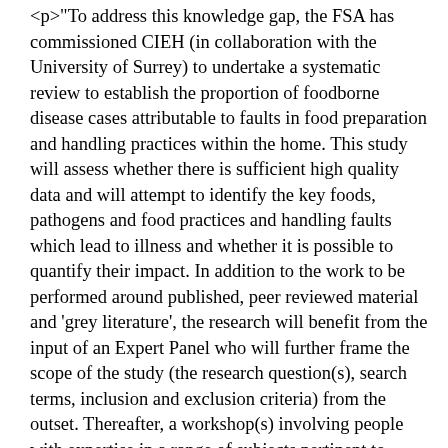<p>"To address this knowledge gap, the FSA has commissioned CIEH (in collaboration with the University of Surrey) to undertake a systematic review to establish the proportion of foodborne disease cases attributable to faults in food preparation and handling practices within the home. This study will assess whether there is sufficient high quality data and will attempt to identify the key foods, pathogens and food practices and handling faults which lead to illness and whether it is possible to quantify their impact. In addition to the work to be performed around published, peer reviewed material and 'grey literature', the research will benefit from the input of an Expert Panel who will further frame the scope of the study (the research question(s), search terms, inclusion and exclusion criteria) from the outset. Thereafter, a workshop(s) involving people with expertise in a range of subjects pertinent to domestic hygiene will be conducted to discuss the data thus obtained and to explore some of the hygiene issues in more detail. The systematic review will begin with a comprehensive search of both peer reviewed literature and 'grey literature' which will